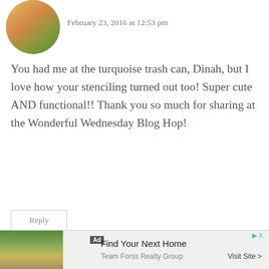[Figure (photo): Circular avatar photo of a woman with flowers, partially visible]
February 23, 2016 at 12:53 pm
You had me at the turquoise trash can, Dinah, but I love how your stenciling turned out too! Super cute AND functional!! Thank you so much for sharing at the Wonderful Wednesday Blog Hop!
Reply
[Figure (photo): Circular avatar photo of Dinah Wulf, a woman with long hair]
Dinah Wulf says:
February 24, 2016 at 7:51 am
[Figure (infographic): Advertisement banner: Find Your Next Home, Team Forss Realty Group, Visit Site]